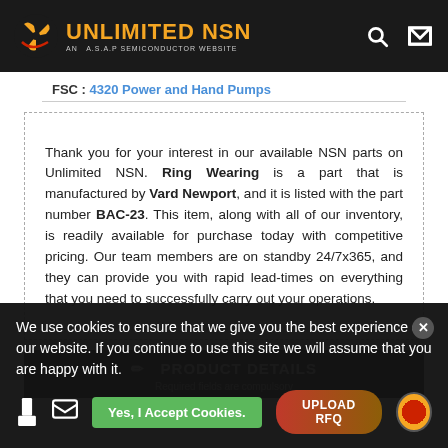UNLIMITED NSN — AN A.S.A.P SEMICONDUCTOR WEBSITE
FSC : 4320 Power and Hand Pumps
Thank you for your interest in our available NSN parts on Unlimited NSN. Ring Wearing is a part that is manufactured by Vard Newport, and it is listed with the part number BAC-23. This item, along with all of our inventory, is readily available for purchase today with competitive pricing. Our team members are on standby 24/7x365, and they can provide you with rapid lead-times on everything that you need to successfully carry out your operations.
PRODUCT DETAILS
Required fields are compulsory
We use cookies to ensure that we give you the best experience on our website. If you continue to use this site we will assume that you are happy with it.